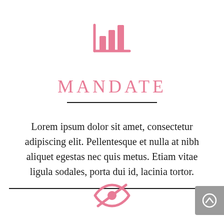[Figure (illustration): Pink bar chart icon with vertical bars and a baseline axis]
MANDATE
Lorem ipsum dolor sit amet, consectetur adipiscing elit. Pellentesque et nulla at nibh aliquet egestas nec quis metus. Etiam vitae ligula sodales, porta dui id, lacinia tortor.
[Figure (illustration): Pink eye with a diagonal strike-through line (hidden/private icon)]